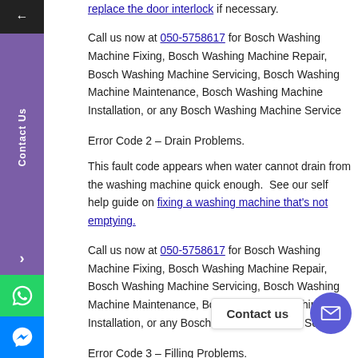replace the door interlock if necessary.
Call us now at 050-5758617 for Bosch Washing Machine Fixing, Bosch Washing Machine Repair, Bosch Washing Machine Servicing, Bosch Washing Machine Maintenance, Bosch Washing Machine Installation, or any Bosch Washing Machine Service
Error Code 2 – Drain Problems.
This fault code appears when water cannot drain from the washing machine quick enough. See our self help guide on fixing a washing machine that's not emptying.
Call us now at 050-5758617 for Bosch Washing Machine Fixing, Bosch Washing Machine Repair, Bosch Washing Machine Servicing, Bosch Washing Machine Maintenance, Bosch Washing Machine Installation, or any Bosch Washing Machine Service
Error Code 3 – Filling Problems.
This fault code means that your Bosch washing machine isn't filling...